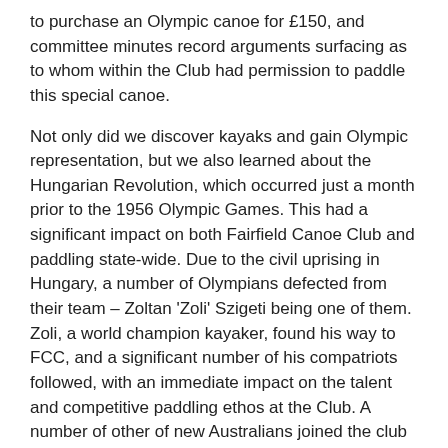to purchase an Olympic canoe for £150, and committee minutes record arguments surfacing as to whom within the Club had permission to paddle this special canoe.
Not only did we discover kayaks and gain Olympic representation, but we also learned about the Hungarian Revolution, which occurred just a month prior to the 1956 Olympic Games. This had a significant impact on both Fairfield Canoe Club and paddling state-wide. Due to the civil uprising in Hungary, a number of Olympians defected from their team – Zoltan 'Zoli' Szigeti being one of them. Zoli, a world champion kayaker, found his way to FCC, and a significant number of his compatriots followed, with an immediate impact on the talent and competitive paddling ethos at the Club. A number of other of new Australians joined the club as a result. This injection of European paddlers certainly raised the profile of Fairfield Canoe Club.
Fairfield Canoe Club Olympians